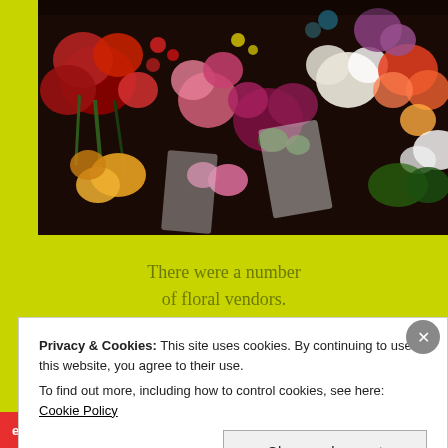[Figure (photo): A photo of colorful flower arrangements at a market stall, showing red, pink, white, yellow, and purple flowers tightly packed together.]
There were a number of floral vendors.
Privacy & Cookies: This site uses cookies. By continuing to use this website, you agree to their use. To find out more, including how to control cookies, see here: Cookie Policy
Close and accept
email with more privacy.